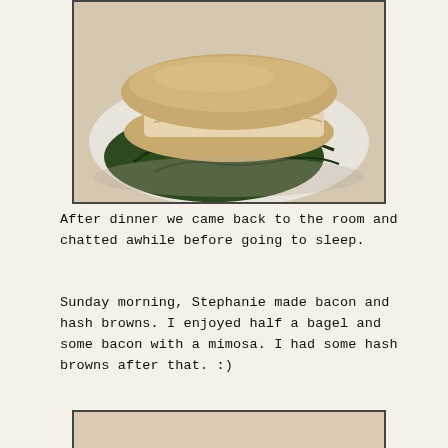[Figure (photo): A sandwich with dark leafy greens (collard greens or kale) on a white plate, filled with shredded chicken or turkey and tomatoes, on a flat bread or tortilla wrap.]
After dinner we came back to the room and chatted awhile before going to sleep.
Sunday morning, Stephanie made bacon and hash browns. I enjoyed half a bagel and some bacon with a mimosa. I had some hash browns after that. :)
[Figure (photo): A table with breakfast items including a yellow mimosa drink in a martini glass, a water bottle, a white plate, and various food packages on a granite countertop.]